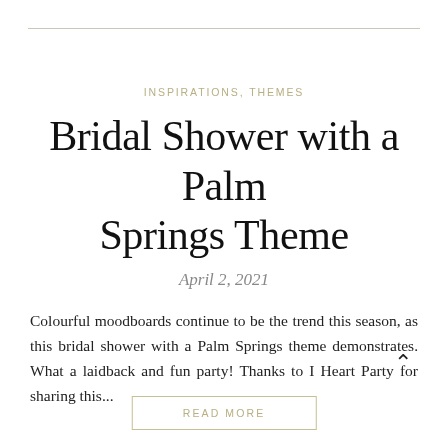INSPIRATIONS, THEMES
Bridal Shower with a Palm Springs Theme
April 2, 2021
Colourful moodboards continue to be the trend this season, as this bridal shower with a Palm Springs theme demonstrates. What a laidback and fun party! Thanks to I Heart Party for sharing this...
READ MORE